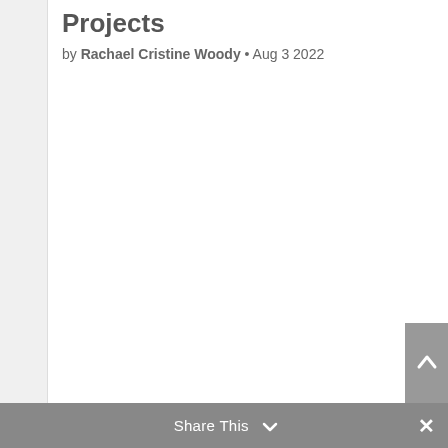Projects
by Rachael Cristine Woody • Aug 3 2022
Share This ∨  ×